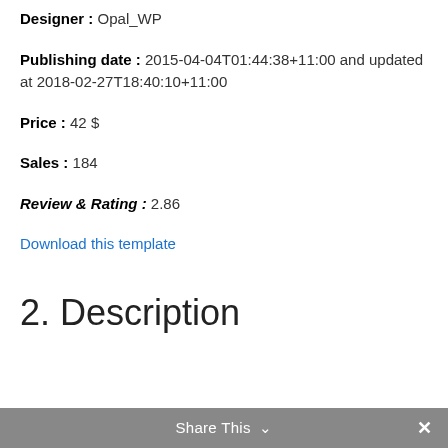Designer : Opal_WP
Publishing date : 2015-04-04T01:44:38+11:00 and updated at 2018-02-27T18:40:10+11:00
Price : 42 $
Sales : 184
Review & Rating : 2.86
Download this template
2. Description
Share This ✓ ✕